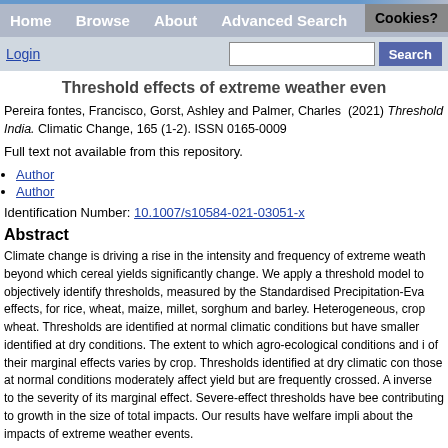Home  Browse  About  Advanced Search  Cookies?
Login  Search
Threshold effects of extreme weather even
Pereira fontes, Francisco, Gorst, Ashley and Palmer, Charles (2021) Threshold... India. Climatic Change, 165 (1-2). ISSN 0165-0009
Full text not available from this repository.
Author
Author
Identification Number: 10.1007/s10584-021-03051-x
Abstract
Climate change is driving a rise in the intensity and frequency of extreme weath... beyond which cereal yields significantly change. We apply a threshold model to objectively identify thresholds, measured by the Standardised Precipitation-Eva effects, for rice, wheat, maize, millet, sorghum and barley. Heterogeneous, crop wheat. Thresholds are identified at normal climatic conditions but have smaller identified at dry conditions. The extent to which agro-ecological conditions and i of their marginal effects varies by crop. Thresholds identified at dry climatic con those at normal conditions moderately affect yield but are frequently crossed. A inverse to the severity of its marginal effect. Severe-effect thresholds have bee contributing to growth in the size of total impacts. Our results have welfare impli about the impacts of extreme weather events.